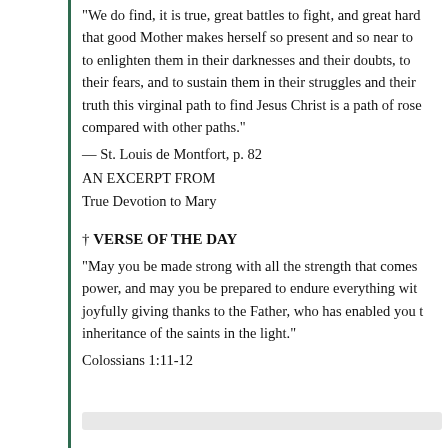"We do find, it is true, great battles to fight, and great hard... that good Mother makes herself so present and so near to... to enlighten them in their darknesses and their doubts, to... their fears, and to sustain them in their struggles and their... truth this virginal path to find Jesus Christ is a path of rose... compared with other paths."
— St. Louis de Montfort, p. 82
AN EXCERPT FROM
True Devotion to Mary
† VERSE OF THE DAY
"May you be made strong with all the strength that comes... power, and may you be prepared to endure everything wit... joyfully giving thanks to the Father, who has enabled you t... inheritance of the saints in the light."
Colossians 1:11-12